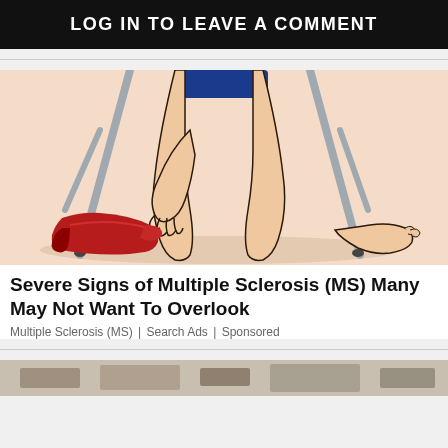LOG IN TO LEAVE A COMMENT
[Figure (illustration): Illustration of legs and crutches with a red high-heel shoe on the floor, suggesting mobility difficulty. A person is bending down near crutches.]
Severe Signs of Multiple Sclerosis (MS) Many May Not Want To Overlook
Multiple Sclerosis (MS) | Search Ads | Sponsored
[Figure (photo): Partial view of a second advertisement image at the bottom of the page, mostly cut off.]